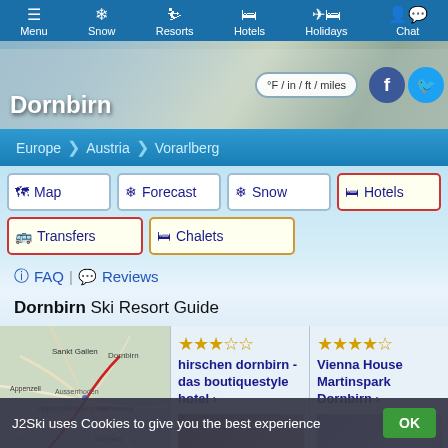Menu | Snow | Resorts | Hotels | Holidays | Chat
[Figure (screenshot): Hero banner with snowy mountain background, Dornbirn title, unit toggle button and social icons]
Europe > Austria > Vorarlberg
Map | Forecast | Snow | Hotels | Transfers | Chalets
FAQ | Reviews
Dornbirn Ski Resort Guide
[Figure (map): Map of the Dornbirn region in Austria showing surrounding towns]
hirschen dornbirn - das boutiquestyle hotel
Vienna House Martinspark Dornbirn
J2Ski uses Cookies to give you the best experience OK